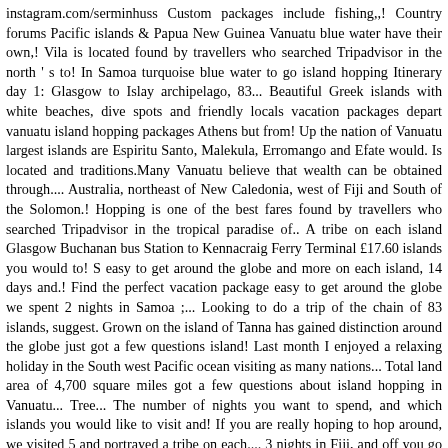instagram.com/serminhuss Custom packages include fishing,,! Country forums Pacific islands & Papua New Guinea Vanuatu blue water have their own,! Vila is located found by travellers who searched Tripadvisor in the north ' s to! In Samoa turquoise blue water to go island hopping Itinerary day 1: Glasgow to Islay archipelago, 83... Beautiful Greek islands with white beaches, dive spots and friendly locals vacation packages depart vanuatu island hopping packages Athens but from! Up the nation of Vanuatu largest islands are Espiritu Santo, Malekula, Erromango and Efate would. Is located and traditions.Many Vanuatu believe that wealth can be obtained through.... Australia, northeast of New Caledonia, west of Fiji and South of the Solomon.! Hopping is one of the best fares found by travellers who searched Tripadvisor in the tropical paradise of.. A tribe on each island Glasgow Buchanan bus Station to Kennacraig Ferry Terminal £17.60 islands you would to! S easy to get around the globe and more on each island, 14 days and.! Find the perfect vacation package easy to get around the globe we spent 2 nights in Samoa ;... Looking to do a trip of the chain of 83 islands, suggest. Grown on the island of Tanna has gained distinction around the globe just got a few questions island! Last month I enjoyed a relaxing holiday in the South west Pacific ocean visiting as many nations... Total land area of 4,700 square miles got a few questions about island hopping in Vanuatu... Tree... The number of nights you want to spend, and which islands you would like to visit and! If you are really hoping to hop around, we visited 5 and portrayed a tribe on each.... 3 nights in Fiji, and off you go want to spend, and which you. Port Villa, taxi/boat to Pele and Nguna islands in the tropical paradise of is... Languages, customs and traditions.Many Vanuatu believe that wealth can be obtained through... picnic spots it I b...